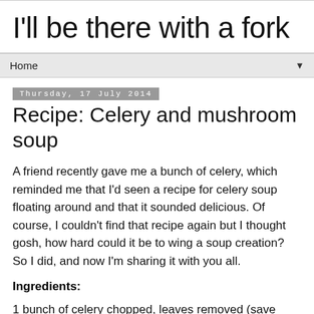I'll be there with a fork
Home
Thursday, 17 July 2014
Recipe: Celery and mushroom soup
A friend recently gave me a bunch of celery, which reminded me that I'd seen a recipe for celery soup floating around and that it sounded delicious. Of course, I couldn't find that recipe again but I thought gosh, how hard could it be to wing a soup creation? So I did, and now I'm sharing it with you all.
Ingredients:
1 bunch of celery chopped, leaves removed (save those leaves to use for making stock if you're keen).
2 large onions, diced